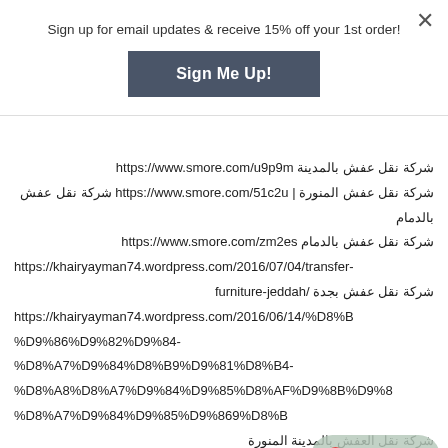Sign up for email updates & receive 15% off your 1st order!
Sign Me Up!
شركة نقل عفش بالمدينة https://www.smore.com/u9p9m | شركة نقل عفش المنورة https://www.smore.com/51c2u شركة نقل عفش بالدمام
شركة نقل عفش بالدمام https://www.smore.com/zm2es https://khairyayman74.wordpress.com/2016/07/04/transfer-furniture-jeddah/ شركة نقل عفش بجدة https://khairyayman74.wordpress.com/2016/06/14/%D8%B%D9%86%D9%82%D9%84-%D8%A7%D9%84%D8%B9%D9%81%D8%B4-%D8%A8%D8%A7%D9%84%D9%85%D8%AF%D9%8A%D9%86%D8%A9-%D8%A7%D9%84%D9%85%D9%86%D9%86%D9%88%D8%B1%D8%A9/ شركة نقل العفش بالمدينة المنورة https://khairyayman74.wordpress.com/2016/06/14/%D9%8B